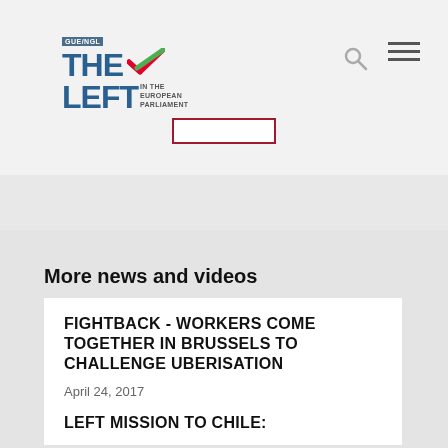[Figure (logo): The Left in the European Parliament logo with GUE/NGL text, checkmark in red and green, and blue text]
[Figure (other): Search icon (magnifying glass)]
[Figure (other): Hamburger menu icon (three horizontal lines)]
[Figure (other): Search bar input box with red border]
More news and videos
FIGHTBACK - WORKERS COME TOGETHER IN BRUSSELS TO CHALLENGE UBERISATION
April 24, 2017
LEFT MISSION TO CHILE: